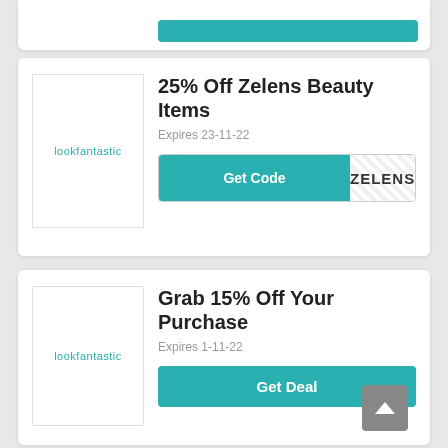[Figure (logo): lookfantastic logo in teal/cyan text on white background with border]
25% Off Zelens Beauty Items
Expires 23-11-22
Get Code  ZELENS
[Figure (logo): lookfantastic logo in teal/cyan text on white background with border]
Grab 15% Off Your Purchase
Expires 1-11-22
Get Deal